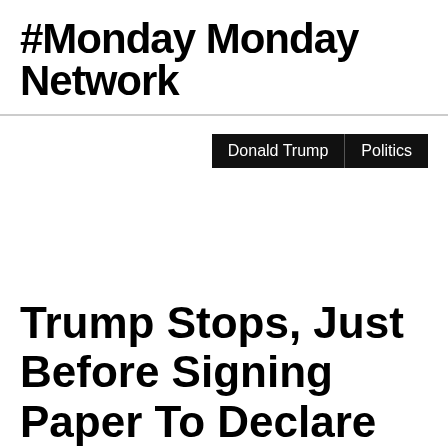#Monday Monday Network
Donald Trump | Politics
Trump Stops, Just Before Signing Paper To Declare The Opioid Epidemic A Crisis, Look What He Does...